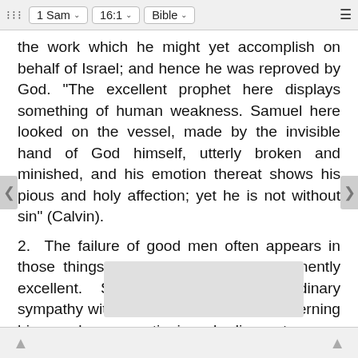⠿  1 Sam ˅  16:1 ˅  Bible ˅  ≡
the work which he might yet accomplish on behalf of Israel; and hence he was reproved by God. "The excellent prophet here displays something of human weakness. Samuel here looked on the vessel, made by the invisible hand of God himself, utterly broken and minished, and his emotion thereat shows his pious and holy affection; yet he is not without sin" (Calvin).
2. The failure of good men often appears in those things in which they are pre-eminently excellent. Samuel exhibited extraordinary sympathy with the purposes of God concerning his people, unquestioning obedience to every indication of his will, and strong faith, and hope, and dauntless coura                                              prey to "t                                            rently hopel                                           r like